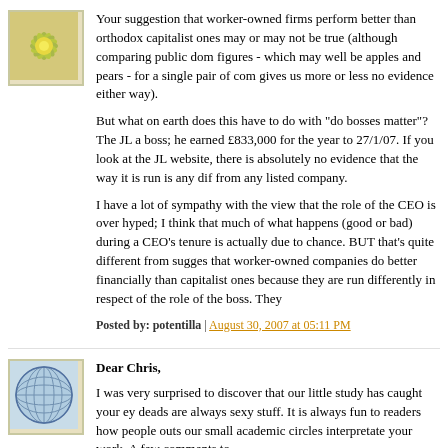[Figure (illustration): Green/yellow flower-like decorative avatar icon in a square frame with border]
Your suggestion that worker-owned firms perform better than orthodox capitalist ones may or may not be true (although comparing public domain figures - which may well be apples and pears - for a single pair of companies gives us more or less no evidence either way).

But what on earth does this have to do with "do bosses matter"? The JL has a boss; he earned £833,000 for the year to 27/1/07. If you look at the JL website, there is absolutely no evidence that the way it is run is any different from any listed company.

I have a lot of sympathy with the view that the role of the CEO is over-hyped; I think that much of what happens (good or bad) during a CEO's tenure is actually due to chance. BUT that's quite different from suggesting that worker-owned companies do better financially than capitalist ones because they are run differently in respect of the role of the boss. They
Posted by: potentilla | August 30, 2007 at 05:11 PM
[Figure (illustration): Blue/teal globe-like decorative avatar icon in a square frame with border]
Dear Chris,
I was very surprised to discover that our little study has caught your eye, deads are always sexy stuff. It is always fun to readers how people outside our small academic circles interpretate your work. A few comments to